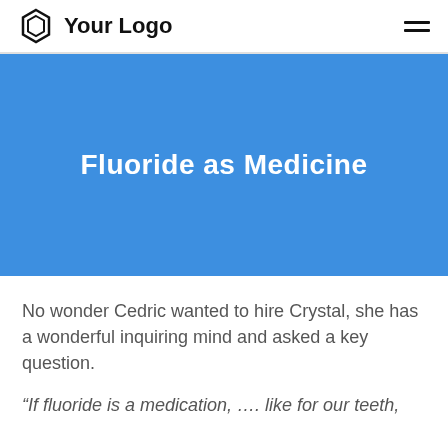Your Logo
Fluoride as Medicine
No wonder Cedric wanted to hire Crystal, she has a wonderful inquiring mind and asked a key question.
“If fluoride is a medication, …. like for our teeth,